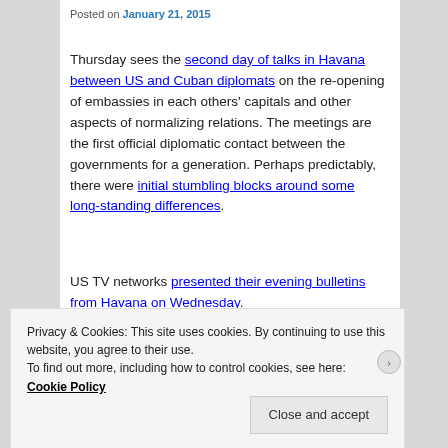Posted on January 21, 2015
Thursday sees the second day of talks in Havana between US and Cuban diplomats on the re-opening of embassies in each others' capitals and other aspects of normalizing relations. The meetings are the first official diplomatic contact between the governments for a generation. Perhaps predictably, there were initial stumbling blocks around some long-standing differences.
US TV networks presented their evening bulletins from Havana on Wednesday.
[Figure (photo): Dark photograph, appears to be a news broadcast image from Havana]
Privacy & Cookies: This site uses cookies. By continuing to use this website, you agree to their use.
To find out more, including how to control cookies, see here: Cookie Policy